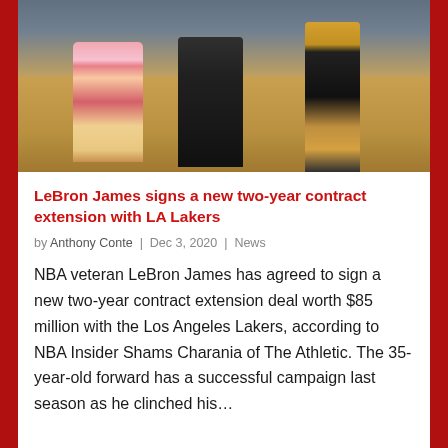[Figure (photo): Basketball court scene with three figures: a woman in a colorful floral dress on the left, a person in black in the middle, and a basketball player on the right, on a hardwood NBA court.]
LeBron James signs a new two-year contract extension with LA Lakers
by Anthony Conte | Dec 3, 2020 | News
NBA veteran LeBron James has agreed to sign a new two-year contract extension deal worth $85 million with the Los Angeles Lakers, according to NBA Insider Shams Charania of The Athletic. The 35-year-old forward has a successful campaign last season as he clinched his…